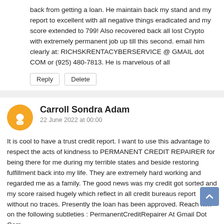back from getting a loan. He maintain back my stand and my report to excellent with all negative things eradicated and my score extended to 799! Also recovered back all lost Crypto with extremely permanent job up till this second. email him clearly at: RICHSKRENTACYBERSERVICE @ GMAIL dot COM or (925) 480-7813. He is marvelous of all
Reply
Delete
Carroll Sondra Adam
22 June 2022 at 00:00
It is cool to have a trust credit report. I want to use this advantage to respect the acts of kindness to PERMANENT CREDIT REPAIRER for being there for me during my terrible states and beside restoring fulfillment back into my life. They are extremely hard working and regarded me as a family. The good news was my credit got sorted and my score raised hugely which reflect in all credit bureaus report without no traces. Presently the loan has been approved. Reach him on the following subtleties : PermanentCreditRepairer At Gmail Dot Com
Reply
Delete